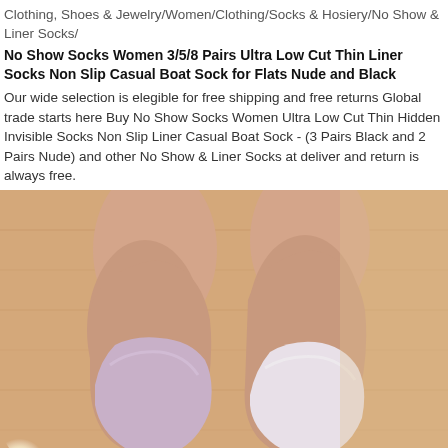Clothing, Shoes & Jewelry/Women/Clothing/Socks & Hosiery/No Show & Liner Socks/
No Show Socks Women 3/5/8 Pairs Ultra Low Cut Thin Liner Socks Non Slip Casual Boat Sock for Flats Nude and Black
Our wide selection is elegible for free shipping and free returns Global trade starts here Buy No Show Socks Women Ultra Low Cut Thin Hidden Invisible Socks Non Slip Liner Casual Boat Sock - (3 Pairs Black and 2 Pairs Nude) and other No Show & Liner Socks at deliver and return is always free.
[Figure (photo): Photo of two women's feet wearing light purple/lavender no-show liner socks on a light wooden floor background]